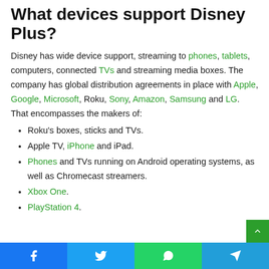What devices support Disney Plus?
Disney has wide device support, streaming to phones, tablets, computers, connected TVs and streaming media boxes. The company has global distribution agreements in place with Apple, Google, Microsoft, Roku, Sony, Amazon, Samsung and LG. That encompasses the makers of:
Roku's boxes, sticks and TVs.
Apple TV, iPhone and iPad.
Phones and TVs running on Android operating systems, as well as Chromecast streamers.
Xbox One.
PlayStation 4.